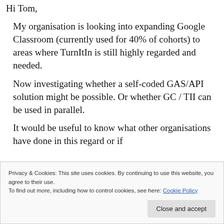Hi Tom,
My organisation is looking into expanding Google Classroom (currently used for 40% of cohorts) to areas where TurnItIn is still highly regarded and needed.
Now investigating whether a self-coded GAS/API solution might be possible. Or whether GC / TII can be used in parallel.
It would be useful to know what other organisations have done in this regard or if
Privacy & Cookies: This site uses cookies. By continuing to use this website, you agree to their use.
To find out more, including how to control cookies, see here: Cookie Policy